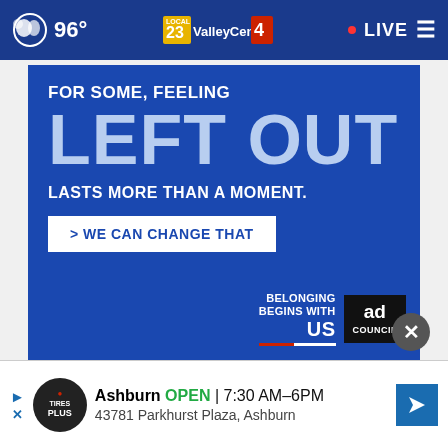96° ValleyCentral.com LIVE
[Figure (infographic): Blue advertisement banner: 'FOR SOME, FEELING LEFT OUT LASTS MORE THAN A MOMENT. > WE CAN CHANGE THAT' with Belonging Begins With US / Ad Council logos]
[Figure (infographic): Bottom ad strip: Tires Plus - Ashburn OPEN 7:30AM-6PM 43781 Parkhurst Plaza, Ashburn]